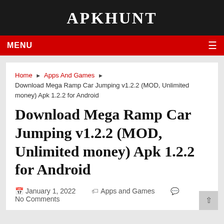APKHUNT
MENU
Home ▶ Apps And Games ▶ Download Mega Ramp Car Jumping v1.2.2 (MOD, Unlimited money) Apk 1.2.2 for Android
Download Mega Ramp Car Jumping v1.2.2 (MOD, Unlimited money) Apk 1.2.2 for Android
January 1, 2022   Apps and Games   No Comments